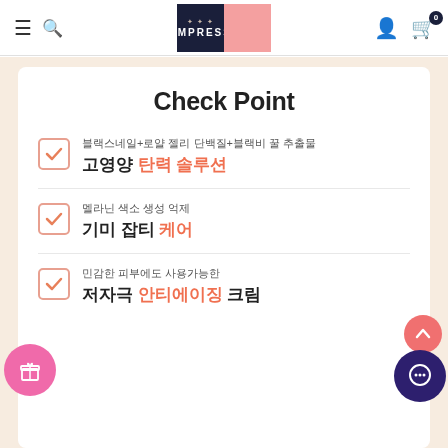EMPRESS
Check Point
블랙스네일+로얄 젤리 단백질+블랙비 꿀 추출물 고영양 탄력 솔루션
멜라닌 색소 생성 억제 기미 잡티 케어
민감한 피부에도 사용가능한 저자극 안티에이징 크림